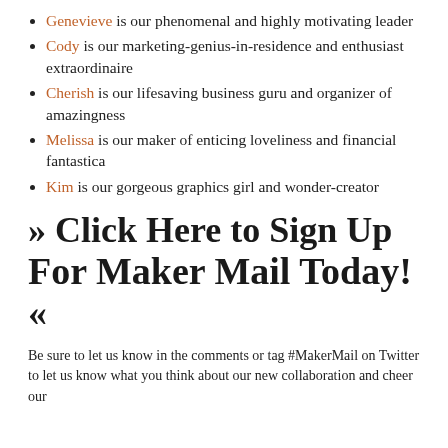Genevieve is our phenomenal and highly motivating leader
Cody is our marketing-genius-in-residence and enthusiast extraordinaire
Cherish is our lifesaving business guru and organizer of amazingness
Melissa is our maker of enticing loveliness and financial fantastica
Kim is our gorgeous graphics girl and wonder-creator
» Click Here to Sign Up For Maker Mail Today! «
Be sure to let us know in the comments or tag #MakerMail on Twitter to let us know what you think about our new collaboration and cheer our